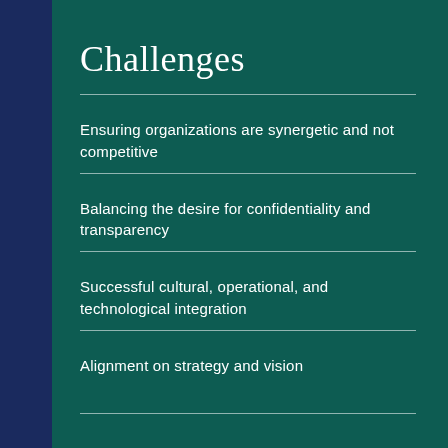Challenges
Ensuring organizations are synergetic and not competitive
Balancing the desire for confidentiality and transparency
Successful cultural, operational, and technological integration
Alignment on strategy and vision